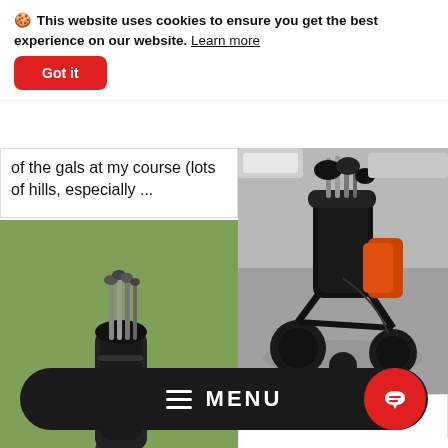🍪 This website uses cookies to ensure you get the best experience on our website. Learn more
Got it
of the gals at my course (lots of hills, especially ...
[Figure (photo): Golf bag with clubs on a green grass golf course, sitting on a three-wheel push trolley]
[Figure (photo): Black electric/manual golf trolley loaded with a black golf bag and accessories, on a paved parking lot surface]
Erin R. 🔒
This thing is more than
MENU